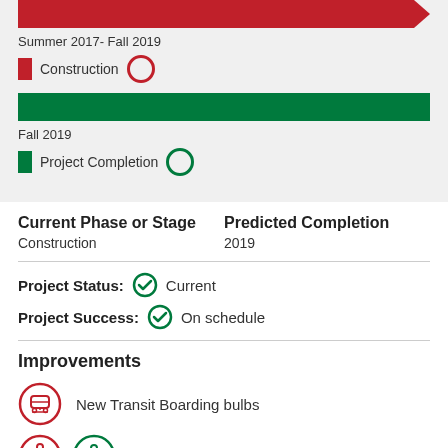[Figure (infographic): Red arrow timeline bar for Construction phase, Summer 2017 - Fall 2019]
Summer 2017- Fall 2019
Construction
[Figure (infographic): Green bar timeline for Project Completion, Fall 2019]
Fall 2019
Project Completion
Current Phase or Stage
Construction
Predicted Completion
2019
Project Status: Current
Project Success: On schedule
Improvements
New Transit Boarding bulbs